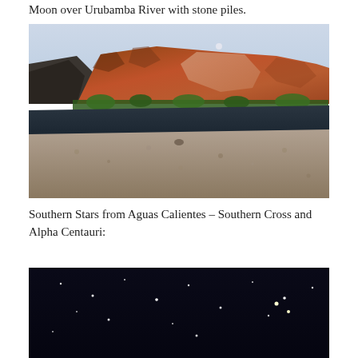Moon over Urubamba River with stone piles.
[Figure (photo): Photograph of Urubamba River with rocky gravel banks in the foreground, dark river water, green vegetation along the banks, dramatic red-orange eroded cliff face in the background, and a pale blue sky with a small moon visible.]
Southern Stars from Aguas Calientes – Southern Cross and Alpha Centauri:
[Figure (photo): Dark night sky photograph showing stars, likely showing the Southern Cross and Alpha Centauri, taken from Aguas Calientes.]